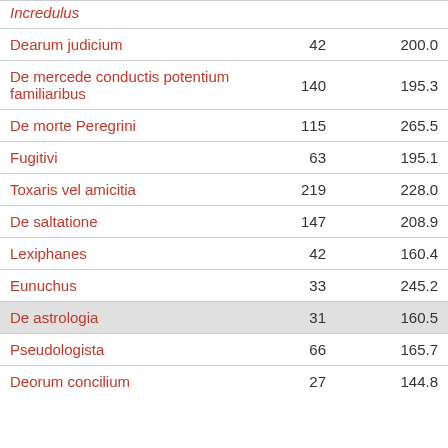| Title | Col1 | Col2 |
| --- | --- | --- |
| Incredulus |  |  |
| Dearum judicium | 42 | 200.0 |
| De mercede conductis potentium familiaribus | 140 | 195.3 |
| De morte Peregrini | 115 | 265.5 |
| Fugitivi | 63 | 195.1 |
| Toxaris vel amicitia | 219 | 228.0 |
| De saltatione | 147 | 208.9 |
| Lexiphanes | 42 | 160.4 |
| Eunuchus | 33 | 245.2 |
| De astrologia | 31 | 160.5 |
| Pseudologista | 66 | 165.7 |
| Deorum concilium | 27 | 144.8 |